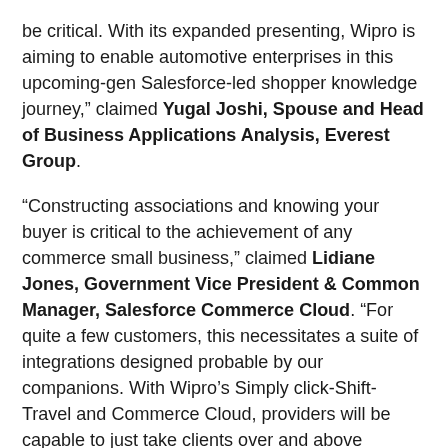be critical. With its expanded presenting, Wipro is aiming to enable automotive enterprises in this upcoming-gen Salesforce-led shopper knowledge journey," claimed Yugal Joshi, Spouse and Head of Business Applications Analysis, Everest Group.
“Constructing associations and knowing your buyer is critical to the achievement of any commerce small business,” claimed Lidiane Jones, Government Vice President & Common Manager, Salesforce Commerce Cloud. “For quite a few customers, this necessitates a suite of integrations designed probable by our companions. With Wipro’s Simply click-Shift-Travel and Commerce Cloud, providers will be capable to just take clients over and above standard products catalogues and direct administration in the car or truck acquiring journey to a highly customizable commerce motor.”
Far more info about Wipro’s Click on-Shift-Push resolution is offered at this link.